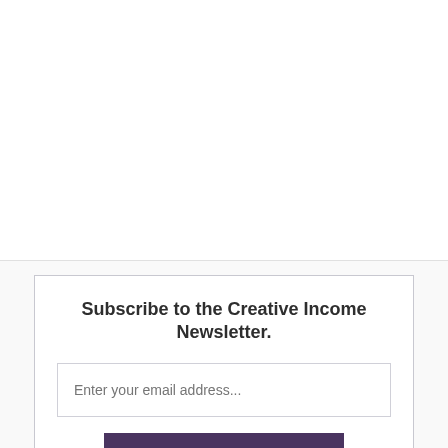[Figure (other): Blank white upper area of a webpage, likely containing article content above the fold, separated by a horizontal border line.]
Subscribe to the Creative Income Newsletter.
Enter your email address...
SIGN ME UP!